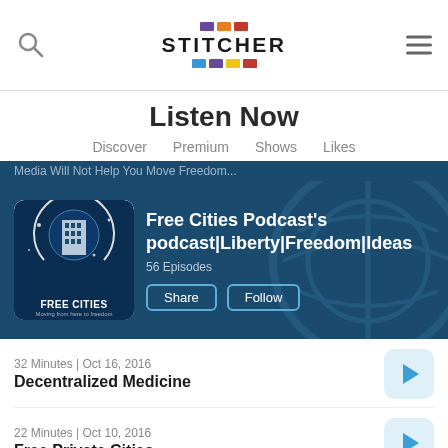[Figure (screenshot): Stitcher app header with search icon, Stitcher logo with colored blocks, and hamburger menu icon]
Listen Now
Discover | Premium | Shows | Likes
[Figure (screenshot): Free Cities Podcast banner with podcast artwork, title, 56 Episodes, Share and Follow buttons on dark blue background]
32 Minutes | Oct 16, 2016
Decentralized Medicine
22 Minutes | Oct 10, 2016
Free Private Cities
35 Minutes | Oct 3, 2016
Why Startup Socieities?